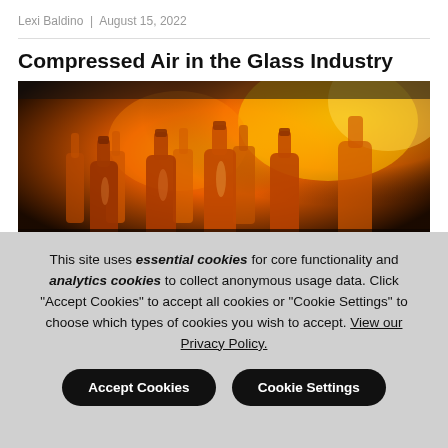Lexi Baldino  |  August 15, 2022
Compressed Air in the Glass Industry
[Figure (photo): Industrial glass bottles glowing orange-red on a production line, backlit by furnace heat]
This site uses essential cookies for core functionality and analytics cookies to collect anonymous usage data. Click "Accept Cookies" to accept all cookies or "Cookie Settings" to choose which types of cookies you wish to accept. View our Privacy Policy.